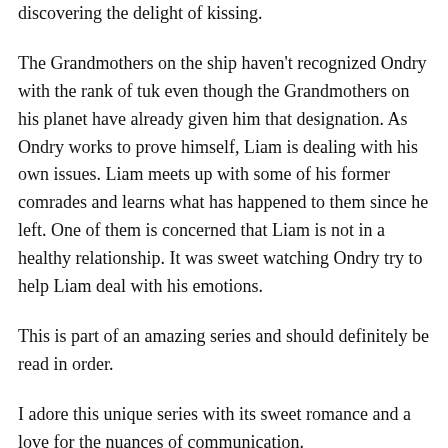discovering the delight of kissing.
The Grandmothers on the ship haven't recognized Ondry with the rank of tuk even though the Grandmothers on his planet have already given him that designation. As Ondry works to prove himself, Liam is dealing with his own issues. Liam meets up with some of his former comrades and learns what has happened to them since he left. One of them is concerned that Liam is not in a healthy relationship. It was sweet watching Ondry try to help Liam deal with his emotions.
This is part of an amazing series and should definitely be read in order.
I adore this unique series with its sweet romance and a love for the nuances of communication.